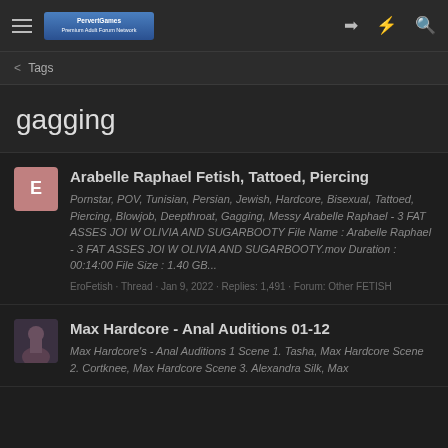Navigation bar with hamburger menu, logo, login, flash, and search icons
< Tags
gagging
Arabelle Raphael Fetish, Tattoed, Piercing
Pornstar, POV, Tunisian, Persian, Jewish, Hardcore, Bisexual, Tattoed, Piercing, Blowjob, Deepthroat, Gagging, Messy Arabelle Raphael - 3 FAT ASSES JOI W OLIVIA AND SUGARBOOTY File Name : Arabelle Raphael - 3 FAT ASSES JOI W OLIVIA AND SUGARBOOTY.mov Duration : 00:14:00 File Size : 1.40 GB...
EroFetish · Thread · Jan 9, 2022 · Replies: 1,491 · Forum: Other FETISH
Max Hardcore - Anal Auditions 01-12
Max Hardcore's - Anal Auditions 1 Scene 1. Tasha, Max Hardcore Scene 2. Cortknee, Max Hardcore Scene 3. Alexandra Silk, Max